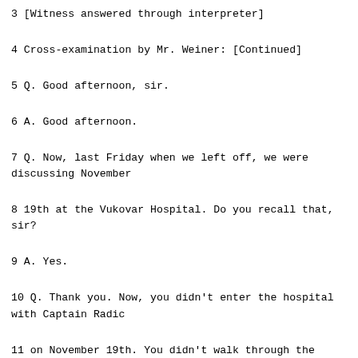3 [Witness answered through interpreter]
4 Cross-examination by Mr. Weiner: [Continued]
5 Q. Good afternoon, sir.
6 A. Good afternoon.
7 Q. Now, last Friday when we left off, we were discussing November
8 19th at the Vukovar Hospital. Do you recall that, sir?
9 A. Yes.
10 Q. Thank you. Now, you didn't enter the hospital with Captain Radic
11 on November 19th. You didn't walk through the hospital with him, did you,
12 sir?
13 A. On the 19th, with Captain Radic and the soldiers, we came to the
14 hospital and secured it.
15 Q. You didn't enter or go inside the hospital with Captain Radic on